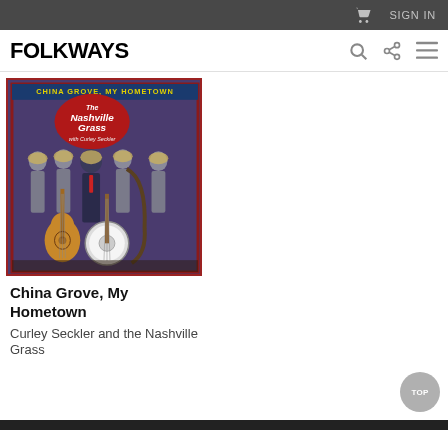SIGN IN
FOLKWAYS
[Figure (photo): Album cover for 'China Grove, My Hometown' by the Nashville Grass with Curley Seckler. Shows five men in suits and cowboy hats posing with instruments including guitar, banjo, and bass. Purple/blue background with red border and text reading 'CHINA GROVE, MY HOMETOWN' at top and 'The Nashville Grass with Curley Seckler' in center.]
China Grove, My Hometown
Curley Seckler and the Nashville Grass